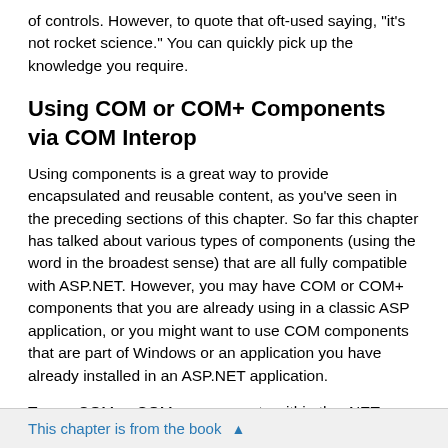of controls. However, to quote that oft-used saying, "it's not rocket science." You can quickly pick up the knowledge you require.
Using COM or COM+ Components via COM Interop
Using components is a great way to provide encapsulated and reusable content, as you've seen in the preceding sections of this chapter. So far this chapter has talked about various types of components (using the word in the broadest sense) that are all fully compatible with ASP.NET. However, you may have COM or COM+ components that you are already using in a classic ASP application, or you might want to use COM components that are part of Windows or an application you have already installed in an ASP.NET application.
To use COM or COM+ components within the .NET Framework, you can create a wrapper that exposes the interface in a format that allows managed code to access it. You effectively create a .NET manifest that describes the component and that acts as a
This chapter is from the book ▲